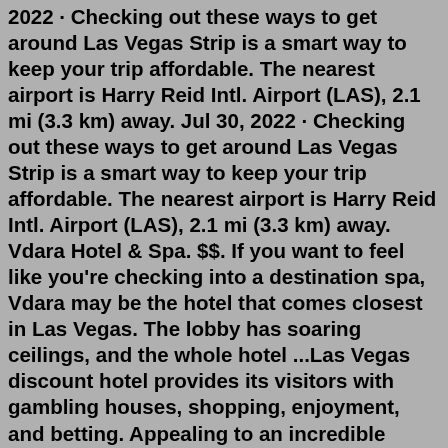2022 · Checking out these ways to get around Las Vegas Strip is a smart way to keep your trip affordable. The nearest airport is Harry Reid Intl. Airport (LAS), 2.1 mi (3.3 km) away. Jul 30, 2022 · Checking out these ways to get around Las Vegas Strip is a smart way to keep your trip affordable. The nearest airport is Harry Reid Intl. Airport (LAS), 2.1 mi (3.3 km) away. Vdara Hotel & Spa. $$. If you want to feel like you're checking into a destination spa, Vdara may be the hotel that comes closest in Las Vegas. The lobby has soaring ceilings, and the whole hotel ...Las Vegas discount hotel provides its visitors with gambling houses, shopping, enjoyment, and betting. Appealing to an incredible number of visitors season after season, Las Vegas also serves its visitors according to their costs. Whether great or low. Cheap discount Las Vegas hotel up to 80% off reservations in all rooms.Close to Strip!1:) 2. Penthouse with a magnificent view of the Strip (from USD 702) Considering itself one of the most luxurious